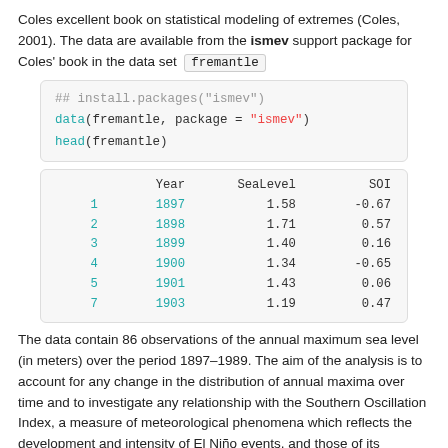Coles excellent book on statistical modeling of extremes (Coles, 2001). The data are available from the ismev support package for Coles' book in the data set fremantle
[Figure (screenshot): R code block showing: ## install.packages("ismev"), data(fremantle, package = "ismev"), head(fremantle)]
|  | Year | SeaLevel | SOI |
| --- | --- | --- | --- |
| 1 | 1897 | 1.58 | -0.67 |
| 2 | 1898 | 1.71 | 0.57 |
| 3 | 1899 | 1.40 | 0.16 |
| 4 | 1900 | 1.34 | -0.65 |
| 5 | 1901 | 1.43 | 0.06 |
| 7 | 1903 | 1.19 | 0.47 |
The data contain 86 observations of the annual maximum sea level (in meters) over the period 1897–1989. The aim of the analysis is to account for any change in the distribution of annual maxima over time and to investigate any relationship with the Southern Oscillation Index, a measure of meteorological phenomena which reflects the development and intensity of El Niño events, and those of its counterpart La Niña, in the south Pacific. The data are shown below using ggplot